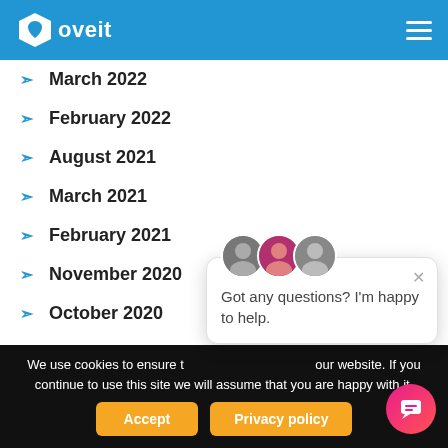Loveit
March 2022
February 2022
August 2021
March 2021
February 2021
November 2020
October 2020
[Figure (screenshot): Chat popup with avatars and message: Got any questions? I'm happy to help.]
We use cookies to ensure the best experience on our website. If you continue to use this site we will assume that you are happy with it.
Accept | Privacy policy